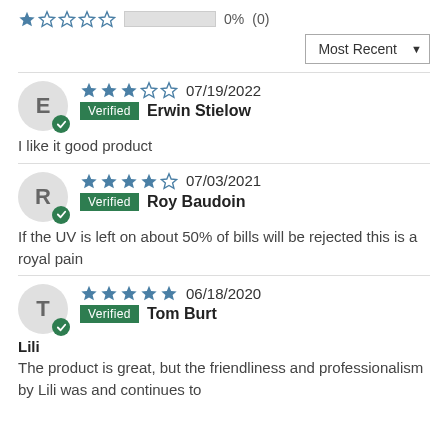★☆☆☆☆  0%  (0)
Most Recent ▼
E  ★★★☆☆  07/19/2022  Verified  Erwin Stielow
I like it good product
R  ★★★★☆  07/03/2021  Verified  Roy Baudoin
If the UV is left on about 50% of bills will be rejected this is a royal pain
T  ★★★★★  06/18/2020  Verified  Tom Burt
Lili
The product is great, but the friendliness and professionalism by Lili was and continues to